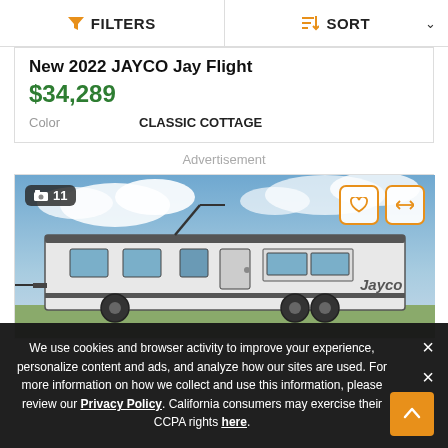FILTERS | SORT
New 2022 JAYCO Jay Flight
$34,289
Color   CLASSIC COTTAGE
Advertisement
[Figure (photo): Photo of a Jayco travel trailer RV, white with dark trim, parked outdoors with blue cloudy sky in background. Badge showing 11 photos in top left, heart and compare icons in top right.]
We use cookies and browser activity to improve your experience, personalize content and ads, and analyze how our sites are used. For more information on how we collect and use this information, please review our Privacy Policy. California consumers may exercise their CCPA rights here.